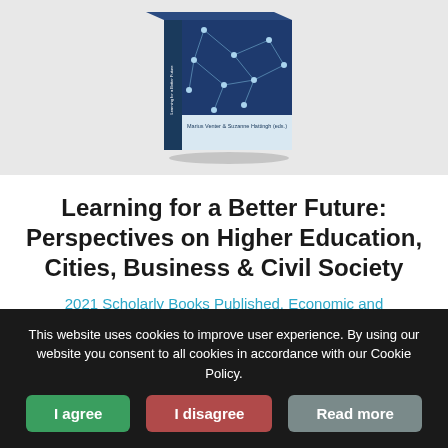[Figure (photo): Book cover of 'Learning for a Better Future: Perspectives on Higher Education, Cities, Business & Civil Society' edited by Marius Venter & Suzanne Hattingh, shown as a 3D book standing upright against a light grey background.]
Learning for a Better Future: Perspectives on Higher Education, Cities, Business & Civil Society
2021 Scholarly Books Published, Economic and Management Sciences, Marius Venter, Suzanne Hattingh
This website uses cookies to improve user experience. By using our website you consent to all cookies in accordance with our Cookie Policy.